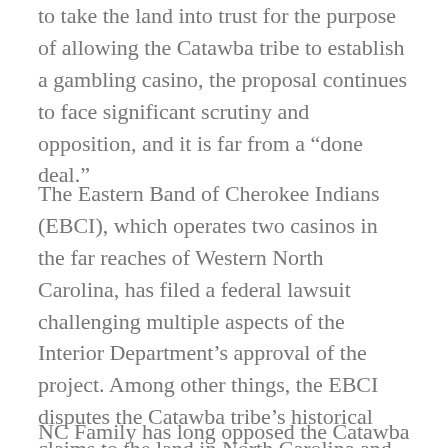to take the land into trust for the purpose of allowing the Catawba tribe to establish a gambling casino, the proposal continues to face significant scrutiny and opposition, and it is far from a “done deal.”
The Eastern Band of Cherokee Indians (EBCI), which operates two casinos in the far reaches of Western North Carolina, has filed a federal lawsuit challenging multiple aspects of the Interior Department’s approval of the project. Among other things, the EBCI disputes the Catawba tribe’s historical claims to the land in North Carolina and raises allegations that the Catawba Indian Nation and controversial gambling developer Wallace Cheves wrongly influenced the Department to gain approval of the project.
NC Family has long opposed the Catawba casino project, not only because a massive gambling casino